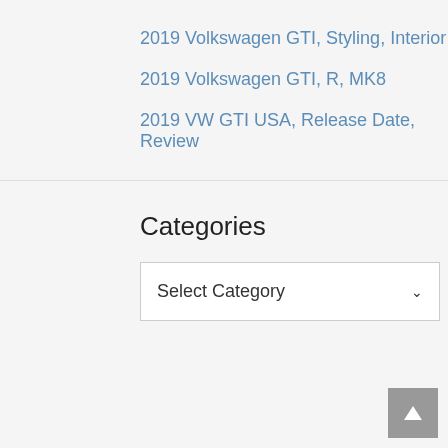2019 Volkswagen GTI, Styling, Interior
2019 Volkswagen GTI, R, MK8
2019 VW GTI USA, Release Date, Review
Categories
Select Category